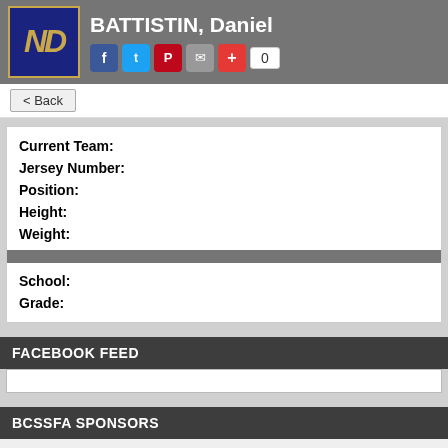BATTISTIN, Daniel
< Back
Current Team:
Jersey Number:
Position:
Height:
Weight:
School:
Grade:
FACEBOOK FEED
BCSSFA SPONSORS
[Figure (logo): Sponsor logos: BC Place, BC Lions, TSN 1040 Vancouver, Subway, and partial logo]